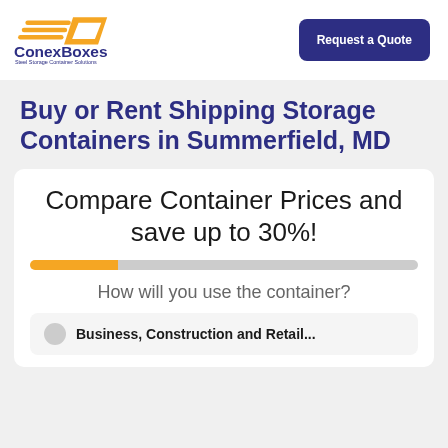[Figure (logo): ConexBoxes logo with orange arrow/box icon and text 'ConexBoxes Steel Storage Container Solutions']
[Figure (other): Dark navy blue button labeled 'Request a Quote']
Buy or Rent Shipping Storage Containers in Summerfield, MD
Compare Container Prices and save up to 30%!
How will you use the container?
Business, Construction and Retail...